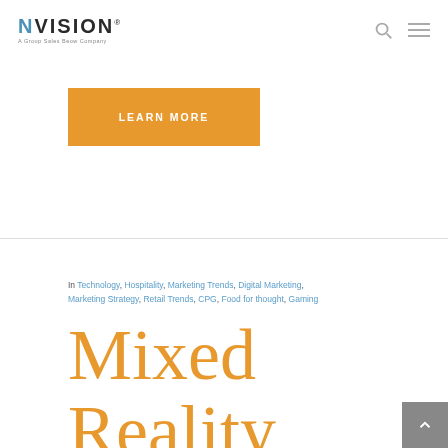NVision — A Group Sales Beow Company navigation with search and menu icons
[Figure (other): Orange 'LEARN MORE' call-to-action button]
In Technology, Hospitality, Marketing Trends, Digital Marketing, Marketing Strategy, Retail Trends, CPG, Food for thought, Gaming
Mixed Reality